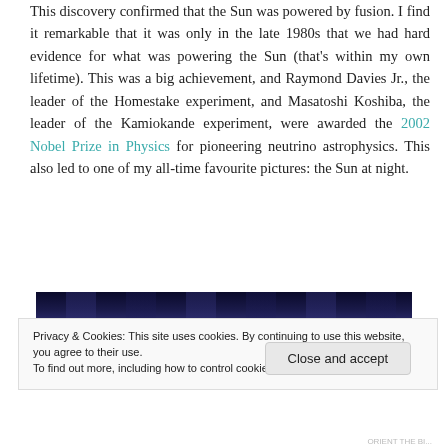This discovery confirmed that the Sun was powered by fusion. I find it remarkable that it was only in the late 1980s that we had hard evidence for what was powering the Sun (that's within my own lifetime). This was a big achievement, and Raymond Davies Jr., the leader of the Homestake experiment, and Masatoshi Koshiba, the leader of the Kamiokande experiment, were awarded the 2002 Nobel Prize in Physics for pioneering neutrino astrophysics. This also led to one of my all-time favourite pictures: the Sun at night.
[Figure (photo): Dark blue/black horizontal image strip showing what appears to be a night sky or dark astronomical image — the Sun at night.]
Privacy & Cookies: This site uses cookies. By continuing to use this website, you agree to their use.
To find out more, including how to control cookies, see here: Cookie Policy
Close and accept
ORIENT THE BI...